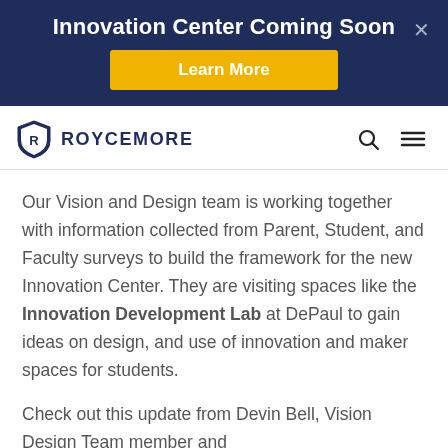Innovation Center Coming Soon
[Figure (logo): Roycemore school shield logo with text ROYCEMORE]
Our Vision and Design team is working together with information collected from Parent, Student, and Faculty surveys to build the framework for the new Innovation Center. They are visiting spaces like the Innovation Development Lab at DePaul to gain ideas on design, and use of innovation and maker spaces for students.
Check out this update from Devin Bell, Vision Design Team member and